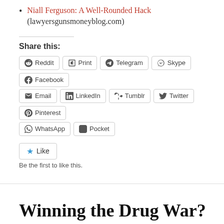Niall Ferguson: A Well-Rounded Hack (lawyersgunsmoneyblog.com)
Share this:
Reddit  Print  Telegram  Skype  Facebook  Email  LinkedIn  Tumblr  Twitter  Pinterest  WhatsApp  Pocket
Like
Be the first to like this.
Winning the Drug War?